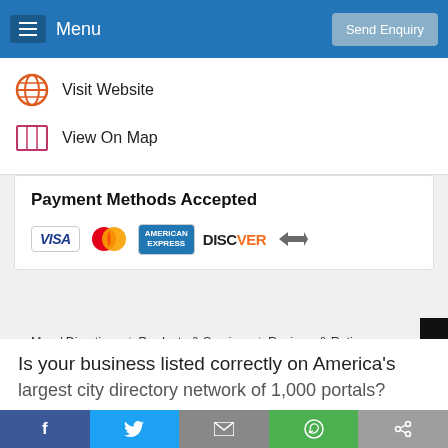Menu | Send Enquiry
Visit Website
View On Map
Payment Methods Accepted
[Figure (other): Payment logos: VISA, MasterCard, American Express, Discover, Debit/check icon]
Map / Directions | Products & Services | Reviews & Ratings | Deals & Offers | Job Openings | Photo Gallery | Contact us | Sitemap
Is your business listed correctly on America's largest city directory network of 1,000 portals?